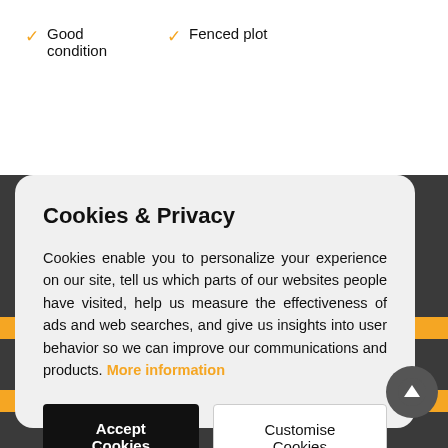✓ Good condition
✓ Fenced plot
Cookies & Privacy
Cookies enable you to personalize your experience on our site, tell us which parts of our websites people have visited, help us measure the effectiveness of ads and web searches, and give us insights into user behavior so we can improve our communications and products. More information
Accept Cookies
Customise Cookies